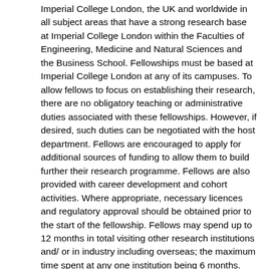Imperial College London, the UK and worldwide in all subject areas that have a strong research base at Imperial College London within the Faculties of Engineering, Medicine and Natural Sciences and the Business School. Fellowships must be based at Imperial College London at any of its campuses. To allow fellows to focus on establishing their research, there are no obligatory teaching or administrative duties associated with these fellowships. However, if desired, such duties can be negotiated with the host department. Fellows are encouraged to apply for additional sources of funding to allow them to build further their research programme. Fellows are also provided with career development and cohort activities. Where appropriate, necessary licences and regulatory approval should be obtained prior to the start of the fellowship. Fellows may spend up to 12 months in total visiting other research institutions and/ or in industry including overseas; the maximum time spent at any one institution being 6 months. Where this is requested, evidence must be provided to reflect the partner's willingness to host the fellow. Salary is provided for three years (fixed term) within the Imperial College Academic and Research Level B pay scales of 27 to 34 (£32,100 – £38,600 per annum for 2012). Incremental progression through the salary scale will be determined in accordance with procedures governing the Research Staff group. A contribution toward research and travel costs of £30,000 for the